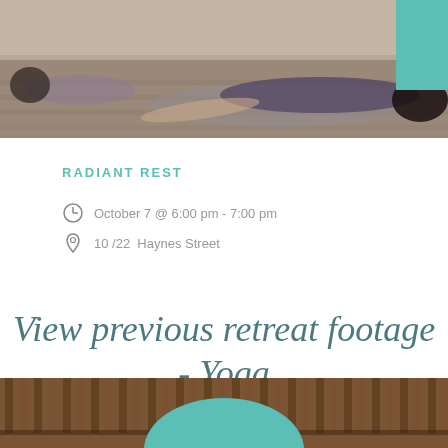[Figure (photo): Woman lying on yoga mat in savasana pose on a wooden floor, relaxation/rest yoga pose]
RADIANT REST
October 7 @ 6:00 pm - 7:00 pm
10 /22  Haynes Street
View previous retreat footage - Yoga Centred, Bali Retreat...
[Figure (photo): Interior of a bali-style bamboo structure with a teal circular dome/pavilion element visible]